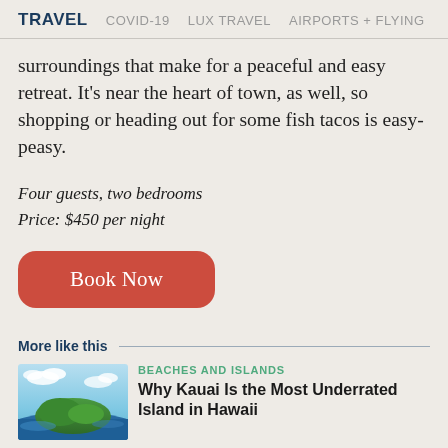TRAVEL   COVID-19   LUX TRAVEL   AIRPORTS + FLYING
surroundings that make for a peaceful and easy retreat. It’s near the heart of town, as well, so shopping or heading out for some fish tacos is easy-peasy.
Four guests, two bedrooms
Price: $450 per night
[Figure (other): Book Now button (red/coral rounded rectangle)]
More like this
[Figure (photo): Aerial photo of a green island with blue ocean water and clouds]
BEACHES AND ISLANDS
Why Kauai Is the Most Underrated Island in Hawaii